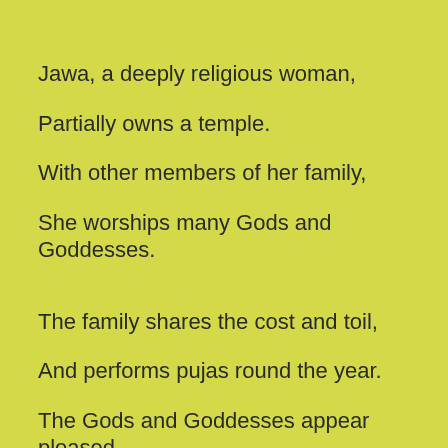Jawa, a deeply religious woman,
Partially owns a temple.
With other members of her family,
She worships many Gods and Goddesses.
The family shares the cost and toil,
And performs pujas round the year.
The Gods and Goddesses appear pleased,